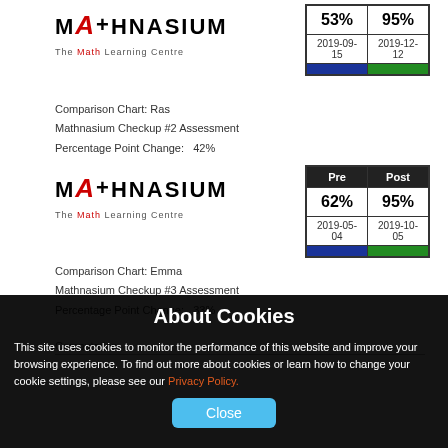[Figure (logo): Mathnasium - The Math Learning Centre logo (first instance)]
|  |  |
| --- | --- |
| 53% | 95% |
| 2019-09-15 | 2019-12-12 |
|  |  |
Comparison Chart: Ras
Mathnasium Checkup #2 Assessment
Percentage Point Change:  42%
[Figure (logo): Mathnasium - The Math Learning Centre logo (second instance)]
| Pre | Post |
| --- | --- |
| 62% | 95% |
| 2019-05-04 | 2019-10-05 |
|  |  |
Comparison Chart: Emma
Mathnasium Checkup #3 Assessment
Percentage Point Change:  33%
Computation
About Cookies
This site uses cookies to monitor the performance of this website and improve your browsing experience. To find out more about cookies or learn how to change your cookie settings, please see our Privacy Policy.
Close